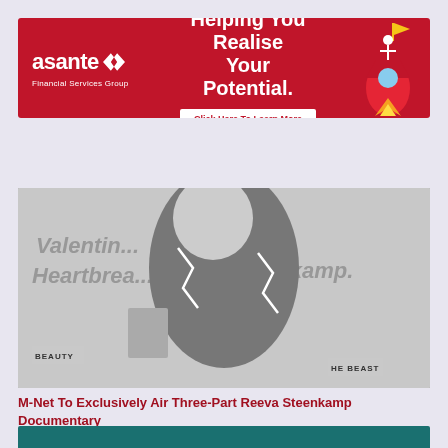[Figure (illustration): Asante Financial Services Group banner advertisement on red background with rocket illustration. Text: 'Helping You Realise Your Potential. Click Here To Learn More']
Menu ≡
[Figure (photo): Black and white glamour photo of Reeva Steenkamp overlaid on newspaper clippings with words 'Heartbreak', 'BEAUTY', 'HE BEAST' visible]
M-Net To Exclusively Air Three-Part Reeva Steenkamp Documentary